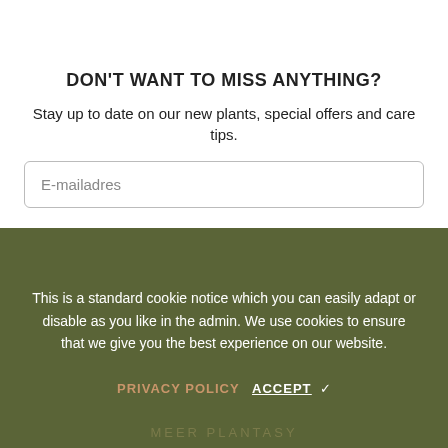DON'T WANT TO MISS ANYTHING?
Stay up to date on our new plants, special offers and care tips.
E-mailadres
This is a standard cookie notice which you can easily adapt or disable as you like in the admin. We use cookies to ensure that we give you the best experience on our website.
PRIVACY POLICY   ACCEPT ✓
MEER PLANTASY